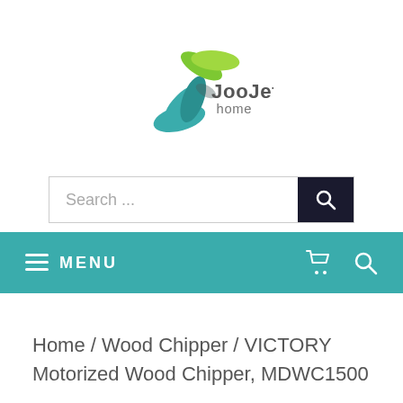[Figure (logo): JooJet Home logo with green and teal leaf shapes and the text 'JooJet home']
[Figure (screenshot): Search bar with placeholder text 'Search ...' and a dark search button with magnifying glass icon]
[Figure (screenshot): Teal navigation bar with hamburger MENU on left and cart and search icons on right]
Home / Wood Chipper / VICTORY Motorized Wood Chipper, MDWC1500